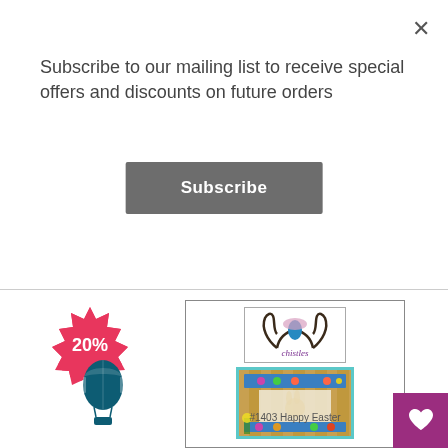Subscribe to our mailing list to receive special offers and discounts on future orders
Subscribe
[Figure (other): 20% discount badge - pink starburst shape with '20%' text in white]
[Figure (logo): Chistles brand logo - circular design with antlers and blue teardrop, text 'chistles' below]
[Figure (photo): Easter themed wall hanging with bunny and eggs on wooden fence background with daffodils]
#1403 Happy Easter
[Figure (illustration): Hot air balloon icon in dark teal/navy stripes]